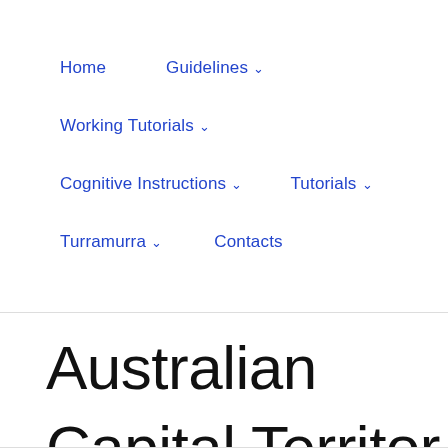Home | Guidelines ▾ | Working Tutorials ▾ | Cognitive Instructions ▾ | Tutorials ▾ | Turramurra ▾ | Contacts
Australian Capital Territory